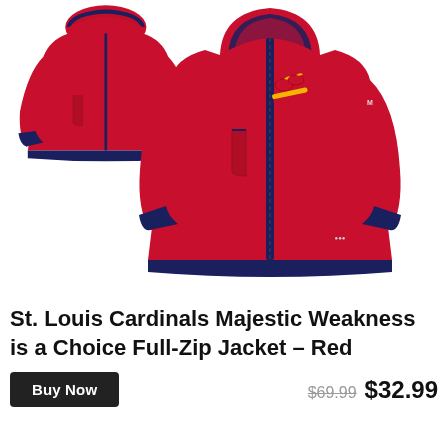[Figure (photo): Red St. Louis Cardinals Majestic full-zip hooded jacket shown from two angles — back/side view on the left and front view on the right. The jacket is red with navy blue trim on the hood, zipper, and hem. A Cardinals logo is embroidered on the chest.]
St. Louis Cardinals Majestic Weakness is a Choice Full-Zip Jacket – Red
Buy Now
$69.99  $32.99